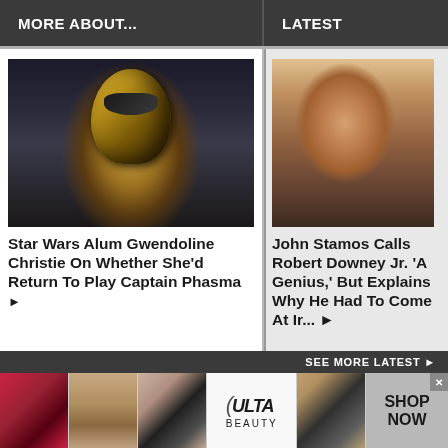MORE ABOUT...
LATEST
[Figure (photo): Star Wars Captain Phasma character in golden stormtrooper armor]
Star Wars Alum Gwendoline Christie On Whether She'd Return To Play Captain Phasma ▶
[Figure (photo): John Stamos sitting in casual white shirt setting]
John Stamos Calls Robert Downey Jr. 'A Genius,' But Explains Why He Had To Come At Ir... ▶
SEE MORE LATEST ▶
[Figure (photo): Advertisement banner with makeup images and ULTA beauty logo, SHOP NOW button]